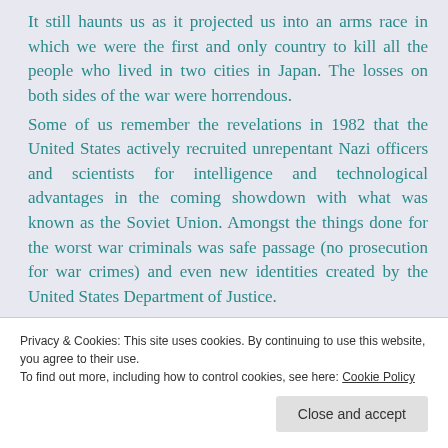It still haunts us as it projected us into an arms race in which we were the first and only country to kill all the people who lived in two cities in Japan. The losses on both sides of the war were horrendous. Some of us remember the revelations in 1982 that the United States actively recruited unrepentant Nazi officers and scientists for intelligence and technological advantages in the coming showdown with what was known as the Soviet Union. Amongst the things done for the worst war criminals was safe passage (no prosecution for war crimes) and even new identities created by the United States Department of Justice. Poli...
Privacy & Cookies: This site uses cookies. By continuing to use this website, you agree to their use.
To find out more, including how to control cookies, see here: Cookie Policy
Close and accept